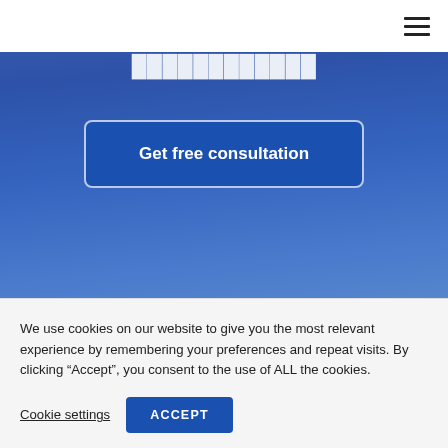[Figure (screenshot): Navigation bar with hamburger menu icon (three horizontal lines) at top right]
[Figure (screenshot): Blue gradient hero section with partially visible white bold title text at top and a 'Get free consultation' call-to-action button]
We use cookies on our website to give you the most relevant experience by remembering your preferences and repeat visits. By clicking “Accept”, you consent to the use of ALL the cookies.
Cookie settings
ACCEPT